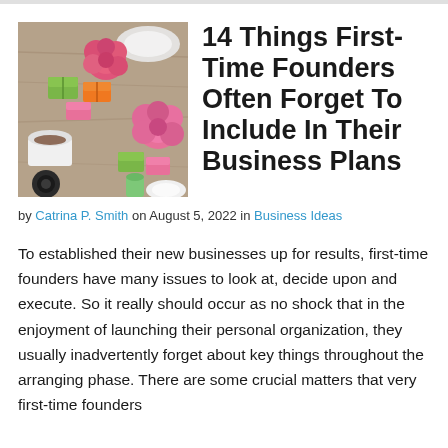[Figure (photo): Overhead flat lay photo of small product gift boxes, flowers, and coffee cup on a wooden table]
14 Things First-Time Founders Often Forget To Include In Their Business Plans
by Catrina P. Smith on August 5, 2022 in Business Ideas
To established their new businesses up for results, first-time founders have many issues to look at, decide upon and execute. So it really should occur as no shock that in the enjoyment of launching their personal organization, they usually inadvertently forget about key things throughout the arranging phase. There are some crucial matters that very first-time founders